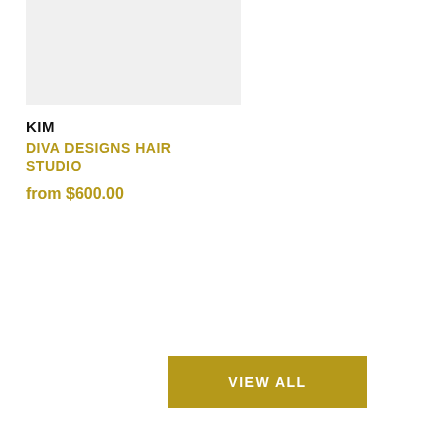[Figure (photo): Light gray image placeholder rectangle in upper left area]
KIM
DIVA DESIGNS HAIR STUDIO
from $600.00
VIEW ALL